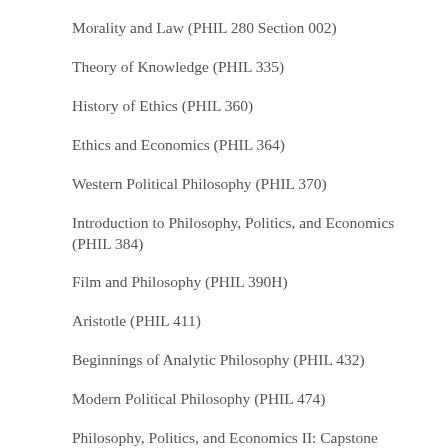Morality and Law (PHIL 280 Section 002)
Theory of Knowledge (PHIL 335)
History of Ethics (PHIL 360)
Ethics and Economics (PHIL 364)
Western Political Philosophy (PHIL 370)
Introduction to Philosophy, Politics, and Economics (PHIL 384)
Film and Philosophy (PHIL 390H)
Aristotle (PHIL 411)
Beginnings of Analytic Philosophy (PHIL 432)
Modern Political Philosophy (PHIL 474)
Philosophy, Politics, and Economics II: Capstone Course (PHIL 608)